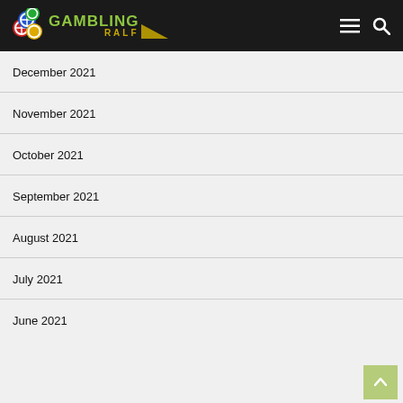GAMBLING RALF
December 2021
November 2021
October 2021
September 2021
August 2021
July 2021
June 2021